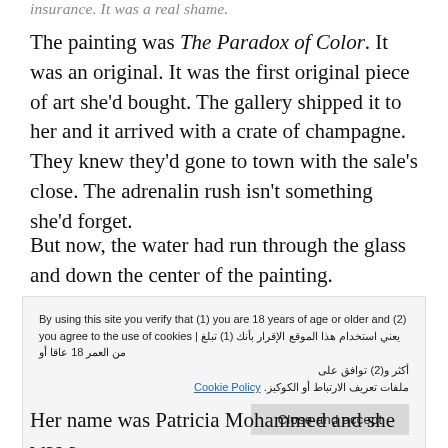insurance. It was a real shame.
The painting was The Paradox of Color. It was an original. It was the first original piece of art she'd bought. The gallery shipped it to her and it arrived with a crate of champagne. They knew they'd gone to town with the sale's close. The adrenalin rush isn't something she'd forget.
But now, the water had run through the glass and down the center of the painting.
By using this site you verify that (1) you are 18 years of age or older and (2) you agree to the use of cookies | يعني استخدام هذا الموقع الإقرار بأنك (1) تبلغ من العمر 18 عاقا أو أكثر و(2) توافق على ملفات تعريف الارتباط أو الكوكيز. Cookie Policy
Her name was Patricia Mohammed and she was a